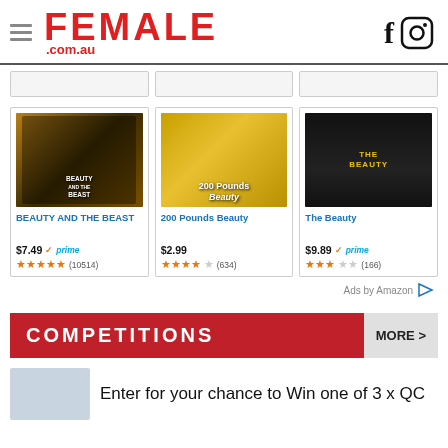FEMALE .com.au
[Figure (screenshot): Three partially visible product cards at top]
[Figure (photo): Beauty and the Beast DVD cover]
BEAUTY AND THE BEAST
$7.49 prime (10514)
[Figure (photo): 200 Pounds Beauty movie poster]
200 Pounds Beauty
$2.99 (634)
[Figure (photo): The Beauty book cover]
The Beauty
$9.89 prime (166)
Ads by Amazon
COMPETITIONS
MORE >
Enter for your chance to Win one of 3 x QC